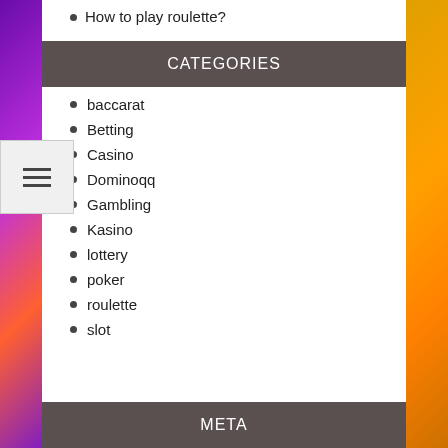How to play roulette?
CATEGORIES
baccarat
Betting
Casino
Dominoqq
Gambling
Kasino
lottery
poker
roulette
slot
META